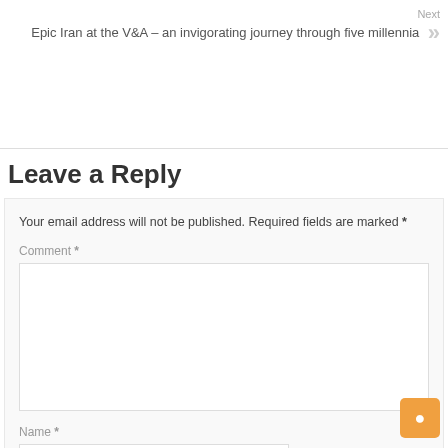Next
Epic Iran at the V&A – an invigorating journey through five millennia
Leave a Reply
Your email address will not be published. Required fields are marked *
Comment *
Name *
Email *